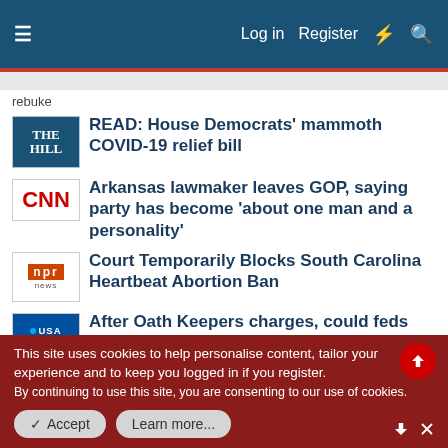Log in   Register
rebuke
READ: House Democrats' mammoth COVID-19 relief bill
Arkansas lawmaker leaves GOP, saying party has become 'about one man and a personality'
Court Temporarily Blocks South Carolina Heartbeat Abortion Ban
After Oath Keepers charges, could feds accuse Capitol attackers of conspiring to overthrow U.S. government?
This site uses cookies to help personalise content, tailor your experience and to keep you logged in if you register. By continuing to use this site, you are consenting to our use of cookies.